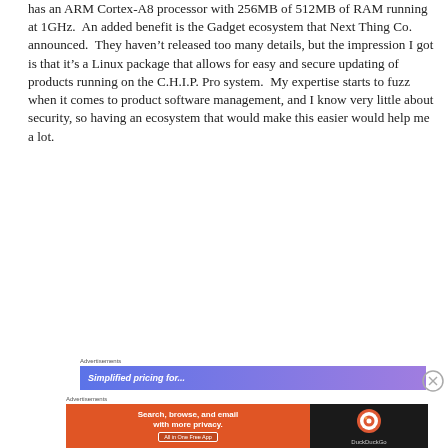has an ARM Cortex-A8 processor with 256MB of 512MB of RAM running at 1GHz.  An added benefit is the Gadget ecosystem that Next Thing Co. announced.  They haven't released too many details, but the impression I got is that it's a Linux package that allows for easy and secure updating of products running on the C.H.I.P. Pro system.  My expertise starts to fuzz when it comes to product software management, and I know very little about security, so having an ecosystem that would make this easier would help me a lot.
Advertisements
[Figure (screenshot): Blue-purple gradient advertisement banner with italic text partially visible]
[Figure (other): Close/dismiss button circle with X]
Advertisements
[Figure (screenshot): DuckDuckGo advertisement: orange left panel with 'Search, browse, and email with more privacy. All in One Free App' and dark right panel with DuckDuckGo logo]